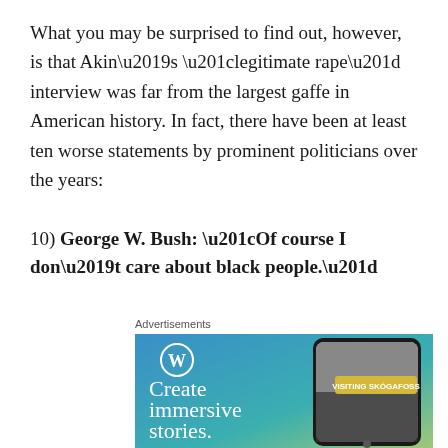What you may be surprised to find out, however, is that Akin's “legitimate rape” interview was far from the largest gaffe in American history. In fact, there have been at least ten worse statements by prominent politicians over the years:
10) George W. Bush: “Of course I don’t care about black people.”
Advertisements
[Figure (illustration): WordPress advertisement showing a smartphone with 'VISITING SKOGAFOSS' label and text 'Create immersive stories.' on a blue-to-teal gradient background with the WordPress logo.]